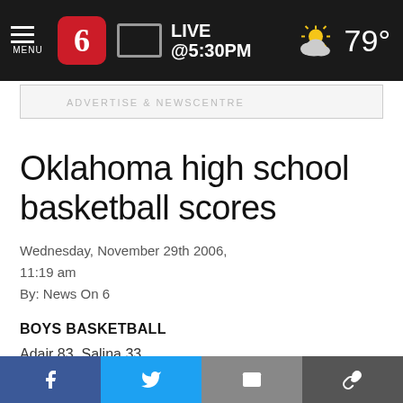LIVE @5:30PM | 79°
Oklahoma high school basketball scores
Wednesday, November 29th 2006, 11:19 am
By: News On 6
BOYS BASKETBALL
Adair 83, Salina 33